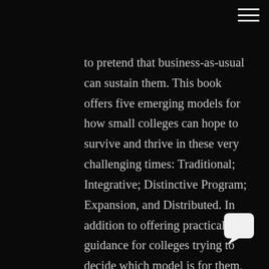to pretend that business-as-usual can sustain them. This book offers five emerging models for how small colleges can hope to survive and thrive in these very challenging times: Traditional; Integrative; Distinctive Program; Expansion, and Distributed. In addition to offering practical guidance for colleges trying to decide which model is for them, the book includes brief institutional profiles of colleges pursuing each model. The book also addresses the evolving role of consortia and partnerships as an avenue to provide additional innovative ways to manage cost and develop new opportunities and programs while maintaining